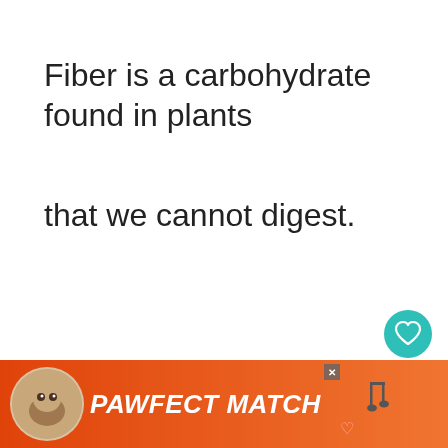Fiber is a carbohydrate found in plants
that we cannot digest.
[Figure (screenshot): Heart/save button (teal circle with heart icon) and share button (white circle with share icon) overlaid on the page content]
Fiber has many health benefits, including
[Figure (infographic): What's Next card showing a circular image of seeds/spices and text: WHAT'S NEXT → The 5 Best Substitutes f...]
providing weight loss or preventing
[Figure (infographic): PAWFECT MATCH advertisement banner with orange gradient background, cat image, italic white bold text, and a close X button. Heart icon at bottom right. Music icon visible at right.]